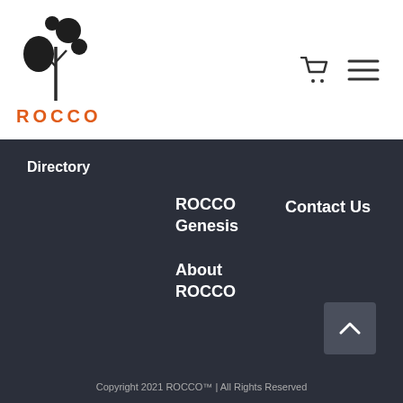[Figure (logo): ROCCO logo: abstract black leaf/droplet shapes above the word ROCCO in orange uppercase bold letters]
Directory
ROCCO Genesis
About ROCCO
Contact Us
Copyright 2021 ROCCO™ | All Rights Reserved